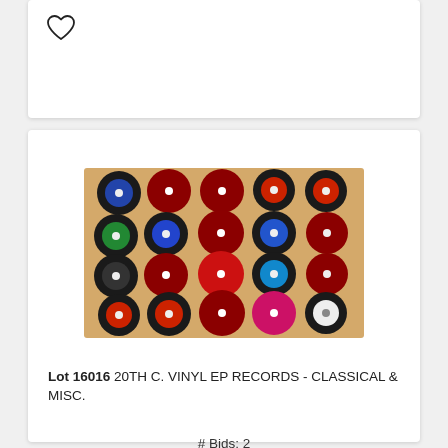[Figure (photo): Heart/favorite icon outline in top card]
[Figure (photo): Collection of 20th century vinyl EP records arranged in a 4x5 grid, showing various colored labels including black, red, blue, and maroon records in paper sleeves]
Lot 16016 20TH C. VINYL EP RECORDS - CLASSICAL & MISC.
# Bids: 2
Min Bid: $10
Final Price: None
Estimate: $20 - $40